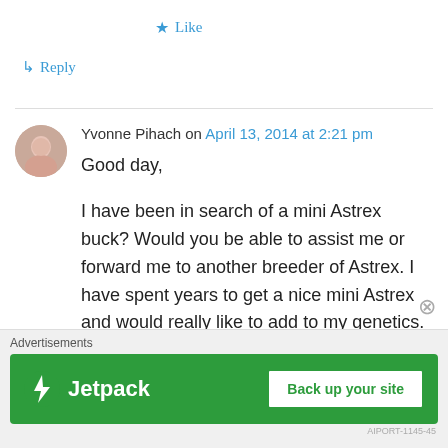★ Like
↳ Reply
Yvonne Pihach on April 13, 2014 at 2:21 pm
Good day,

I have been in search of a mini Astrex buck? Would you be able to assist me or forward me to another breeder of Astrex. I have spent years to get a nice mini Astrex and would really like to add to my genetics. I.Would be willing to fly one in if possible?
Advertisements
[Figure (logo): Jetpack banner advertisement with green background, Jetpack logo and lightning bolt icon on the left, and a 'Back up your site' button on the right]